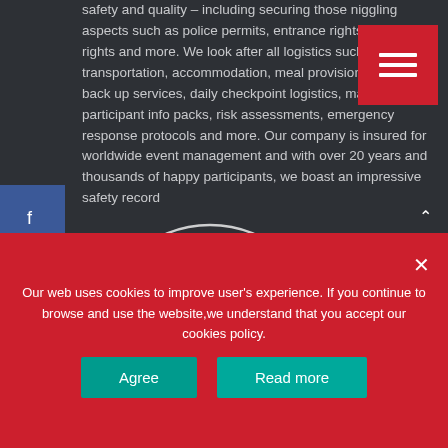safety and quality – including securing those niggling aspects such as police permits, entrance rights, media rights and more. We look after all logistics such as transportation, accommodation, meal provisions, medical back up services, daily checkpoint logistics, mapping & participant info packs, risk assessments, emergency response protocols and more. Our company is insured for worldwide event management and with over 20 years and thousands of happy participants, we boast an impressive safety record
[Figure (logo): Adventure Bug circular stamp logo with mountain graphic, www.adventurebug.com text, ADVENTURE BUG text, FOUNDED/FUNDADO 2000 text]
[Figure (screenshot): Social media sidebar with Facebook, Twitter, Instagram, phone, WhatsApp, and YouTube icons]
TELL ME MORE
Our web uses cookies to improve user's experience. If you continue to browse and use the website,we understand that you accept our cookies policy.